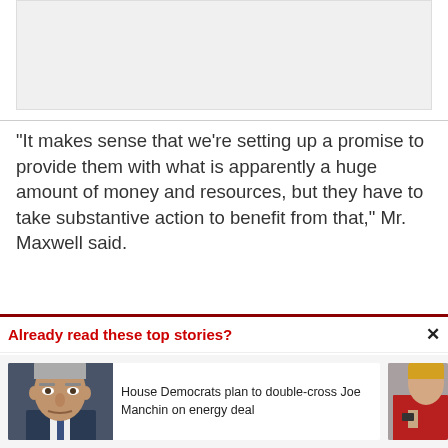[Figure (other): Gray placeholder image box at top of page]
“It makes sense that we’re setting up a promise to provide them with what is apparently a huge amount of money and resources, but they have to take substantive action to benefit from that,” Mr. Maxwell said.
Already read these top stories?
[Figure (photo): Photo of Joe Manchin, a man with gray hair looking stern]
House Democrats plan to double-cross Joe Manchin on energy deal
[Figure (photo): Partial photo of a woman in a red jacket on the right side]